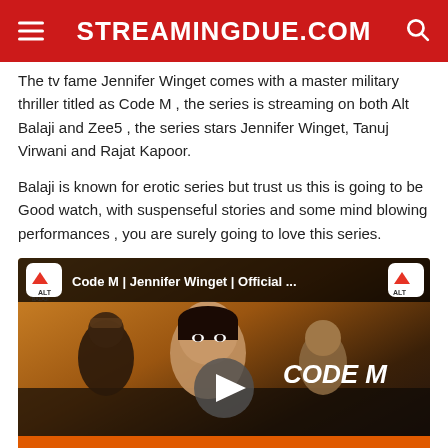STREAMINGDUE.COM
The tv fame Jennifer Winget comes with a master military thriller titled as Code M , the series is streaming on both Alt Balaji and Zee5 , the series stars Jennifer Winget, Tanuj Virwani and Rajat Kapoor.
Balaji is known for erotic series but trust us this is going to be Good watch, with suspenseful stories and some mind blowing performances , you are surely going to love this series.
[Figure (screenshot): YouTube video thumbnail for Code M | Jennifer Winget | Official ... with ALT Balaji logo, play button overlay, actors faces, CODE M title text, orange OFFICIAL TRAILER banner, and 5 MILLION text]